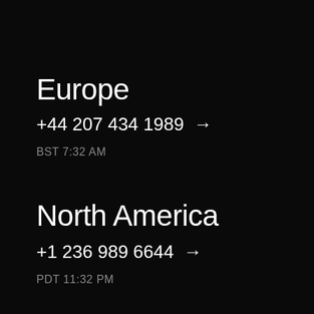Europe
+44 207 434 1989 →
BST 7:32 AM
North America
+1 236 989 6644 →
PDT 11:32 PM